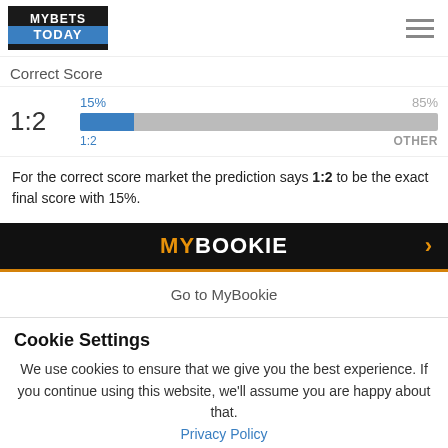MYBETS TODAY
Correct Score
[Figure (bar-chart): Correct Score prediction]
For the correct score market the prediction says 1:2 to be the exact final score with 15%.
[Figure (logo): MyBookie banner with orange and white text and orange arrow]
Go to MyBookie
Cookie Settings
We use cookies to ensure that we give you the best experience. If you continue using this website, we'll assume you are happy about that. Privacy Policy
I AGREE